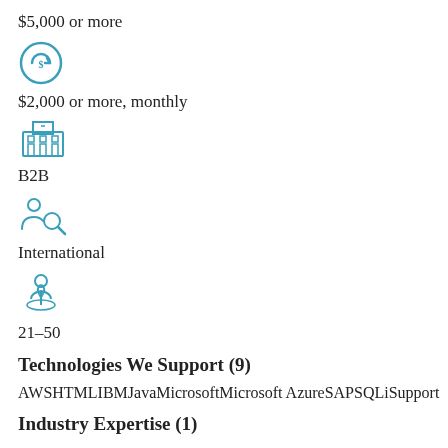$5,000 or more
[Figure (illustration): Teal circular arrow icon with dollar sign (recurring payment/subscription icon)]
$2,000 or more, monthly
[Figure (illustration): Teal building/institution icon]
B2B
[Figure (illustration): Teal people search/magnify icon]
International
[Figure (illustration): Teal person with location pin icon]
21–50
Technologies We Support (9)
AWSHTMLIBMJavaMicrosoftMicrosoft AzureSAPSQLiSupport
Industry Expertise (1)